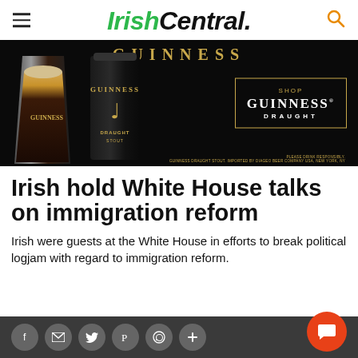IrishCentral.
[Figure (photo): Guinness advertisement showing a pint glass and a Guinness Draught can on a black background with 'SHOP GUINNESS DRAUGHT' text in a gold-bordered box]
Irish hold White House talks on immigration reform
Irish were guests at the White House in efforts to break political logjam with regard to immigration reform.